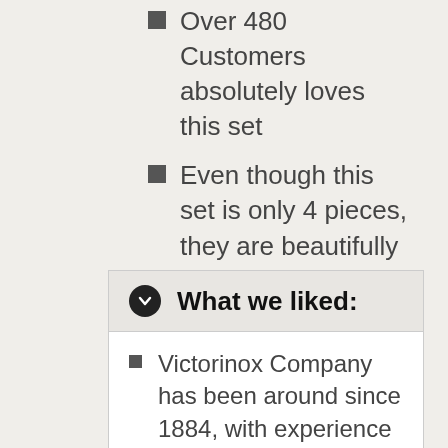Over 480 Customers absolutely loves this set
Even though this set is only 4 pieces, they are beautifully designed and includes all the pieces you would need to feel like a professional.
What we liked:
Victorinox Company has been around since 1884, with experience comes wisdom.